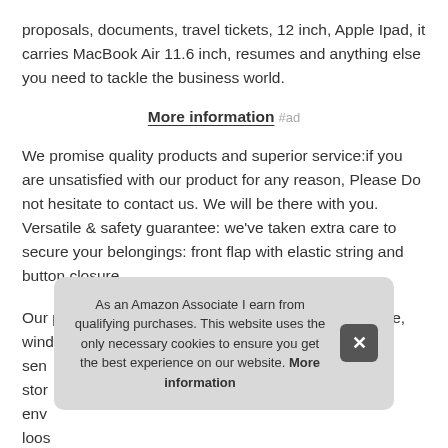proposals, documents, travel tickets, 12 inch, Apple Ipad, it carries MacBook Air 11.6 inch, resumes and anything else you need to tackle the business world.
More information #ad
We promise quality products and superior service:if you are unsatisfied with our product for any reason, Please Do not hesitate to contact us. We will be there with you. Versatile & safety guarantee: we've taken extra care to secure your belongings: front flap with elastic string and button closure.
Our product was not only designed for the looks, coffee, wind, sno... sen... stor... env... loos...
As an Amazon Associate I earn from qualifying purchases. This website uses the only necessary cookies to ensure you get the best experience on our website. More information